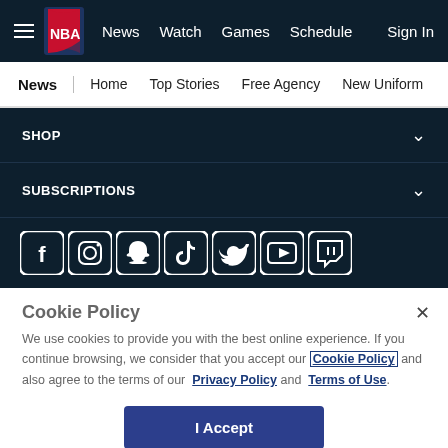NBA navigation: hamburger menu, NBA logo, News, Watch, Games, Schedule, Sign In
News | Home  Top Stories  Free Agency  New Uniform
SHOP
SUBSCRIPTIONS
[Figure (other): Social media icons: Facebook, Instagram, Snapchat, TikTok, Twitter, YouTube, Twitch]
Cookie Policy
We use cookies to provide you with the best online experience. If you continue browsing, we consider that you accept our Cookie Policy and also agree to the terms of our Privacy Policy and Terms of Use.
I Accept